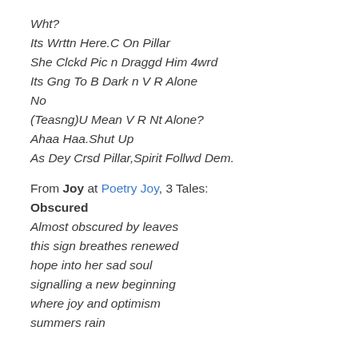Wht?
Its Wrttn Here.C On Pillar
She Clckd Pic n Draggd Him 4wrd
Its Gng To B Dark n V R Alone
No
(Teasng)U Mean V R Nt Alone?
Ahaa Haa.Shut Up
As Dey Crsd Pillar,Spirit Follwd Dem.
From Joy at Poetry Joy, 3 Tales:
Obscured
Almost obscured by leaves
this sign breathes renewed
hope into her sad soul
signalling a new beginning
where joy and optimism
summers rain